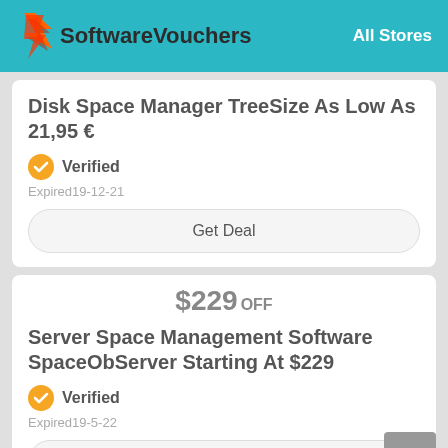SoftwareVouchers — All Stores
Disk Space Manager TreeSize As Low As 21,95 €
Verified
Expired19-12-21
Get Deal
$229 OFF
Server Space Management Software SpaceObServer Starting At $229
Verified
Expired19-5-22
Get Deal